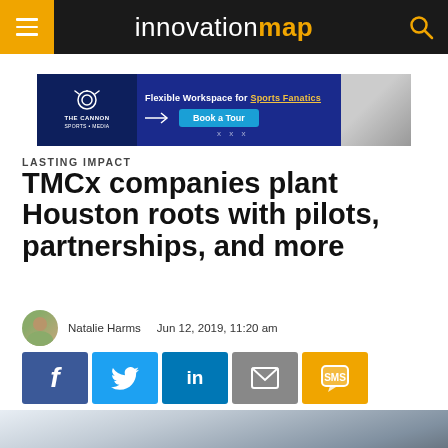innovationmap
[Figure (screenshot): The Cannon Sports + Media advertisement banner: Flexible Workspace for Sports Fanatics - Book a Tour]
LASTING IMPACT
TMCx companies plant Houston roots with pilots, partnerships, and more
Natalie Harms   Jun 12, 2019, 11:20 am
[Figure (infographic): Social share buttons: Facebook, Twitter, LinkedIn, Email, SMS]
[Figure (photo): Building exterior architectural photo, partial view of glass and metal roof structure]